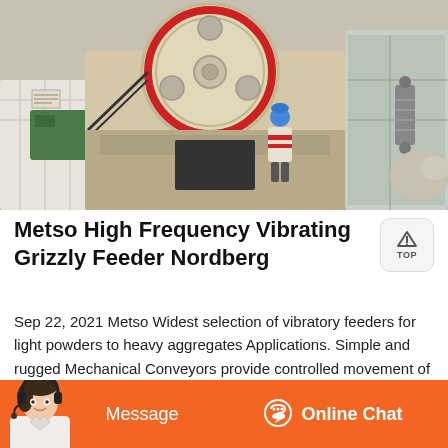[Figure (photo): Industrial jaw crusher machinery with a large flywheel visible at top, a worker in blue helmet standing near it, photographed outdoors at a construction or mining site.]
Metso High Frequency Vibrating Grizzly Feeder Nordberg
Sep 22, 2021 Metso Widest selection of vibratory feeders for light powders to heavy aggregates Applications. Simple and rugged Mechanical Conveyors provide controlled movement of bulk materials. Heavy Duty Feeders Tray options include screens, liners, covers and grizzlies. Vibratory Feeders And Conveyors Designed to Meet All of Your